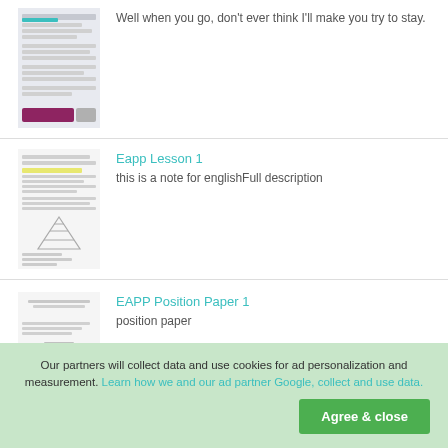[Figure (screenshot): Thumbnail of a document page with text content and a purple/maroon button at the bottom]
Well when you go, don't ever think I'll make you try to stay.
[Figure (screenshot): Thumbnail of a lesson document with text and a pyramid diagram at the bottom]
Eapp Lesson 1
this is a note for englishFull description
[Figure (screenshot): Thumbnail of a position paper document with minimal text]
EAPP Position Paper 1
position paper
Our partners will collect data and use cookies for ad personalization and measurement. Learn how we and our ad partner Google, collect and use data.
Agree & close